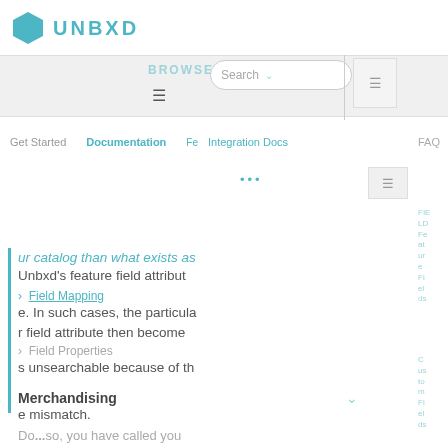[Figure (logo): Unbxd logo with teal hexagon icon and UNBXD text]
BROWSE  Search  (navigation bar with hamburger menus)
Get Started   Documentation   Feature Fields   Integration Docs   FAQ
... (dots) and hamburger menu icon
FIELD
LD
Feat
ure
Fi
el
ds
Cus
to
m
Fi
el
ds
ur catalog than what exists as
Unbxd's feature field attribut
Field Mapping
e. In such cases, the particula
r field attribute then become
s unsearchable because of th
e mismatch.
Field Properties
Merchandising
Do ... so, you have called you